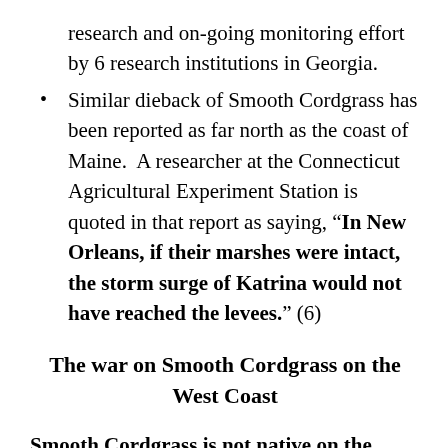research and on-going monitoring effort by 6 research institutions in Georgia.
Similar dieback of Smooth Cordgrass has been reported as far north as the coast of Maine.  A researcher at the Connecticut Agricultural Experiment Station is quoted in that report as saying, “In New Orleans, if their marshes were intact, the storm surge of Katrina would not have reached the levees.” (6)
The war on Smooth Cordgrass on the West Coast
Smooth Cordgrass is not native on the Pacific Coast of the United States.  Therefore it is